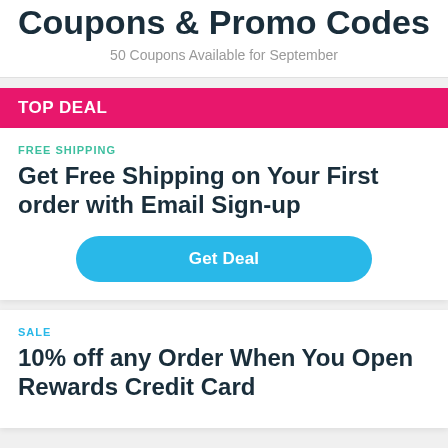Coupons & Promo Codes
50 Coupons Available for September
TOP DEAL
FREE SHIPPING
Get Free Shipping on Your First order with Email Sign-up
Get Deal
SALE
10% off any Order When You Open Rewards Credit Card